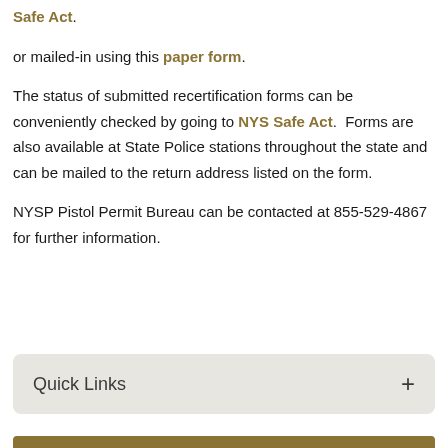Safe Act.
or mailed-in using this paper form.
The status of submitted recertification forms can be conveniently checked by going to NYS Safe Act.. Forms are also available at State Police stations throughout the state and can be mailed to the return address listed on the form.
NYSP Pistol Permit Bureau can be contacted at 855-529-4867 for further information.
Quick Links